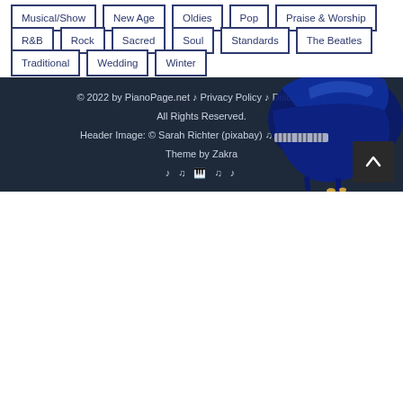Musical/Show
New Age
Oldies
Pop
Praise & Worship
R&B
Rock
Sacred
Soul
Standards
The Beatles
Traditional
Wedding
Winter
© 2022 by PianoPage.net ♪ Privacy Policy ♪ Disclaimer ♪ All Rights Reserved. Header Image: © Sarah Richter (pixabay) ♫ Wordpress Theme by Zakra
[Figure (illustration): Blue grand piano illustration in footer]